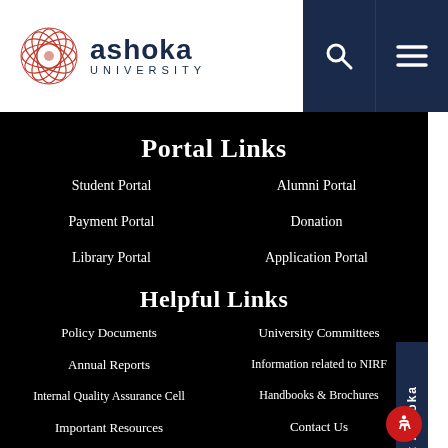[Figure (logo): Ashoka University logo with red circular geometric pattern and navy blue text]
Portal Links
Student Portal
Alumni Portal
Payment Portal
Donation
Library Portal
Application Portal
Helpful Links
Policy Documents
University Committees
Annual Reports
Information related to NIRF
Internal Quality Assurance Cell
Handbooks & Brochures
Important Resources
Contact Us